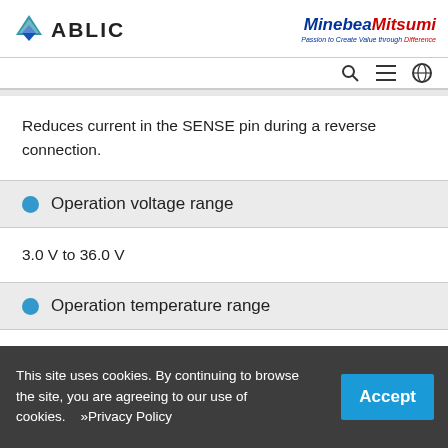ABLIC | MinebeaMitsumi — Passion to Create Value through Difference
Reduces current in the SENSE pin during a reverse connection.
Operation voltage range
3.0 V to 36.0 V
Operation temperature range
This site uses cookies. By continuing to browse the site, you are agreeing to our use of cookies.    »Privacy Policy